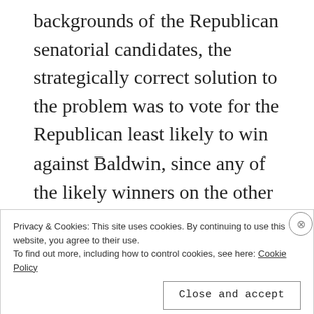backgrounds of the Republican senatorial candidates, the strategically correct solution to the problem was to vote for the Republican least likely to win against Baldwin, since any of the likely winners on the other half of the ticket would be adequately acceptable.  The emotionally comforting but less optimized strategy would be to vote for Tommy Thompson because he's the least scary of the
Privacy & Cookies: This site uses cookies. By continuing to use this website, you agree to their use.
To find out more, including how to control cookies, see here: Cookie Policy
Close and accept